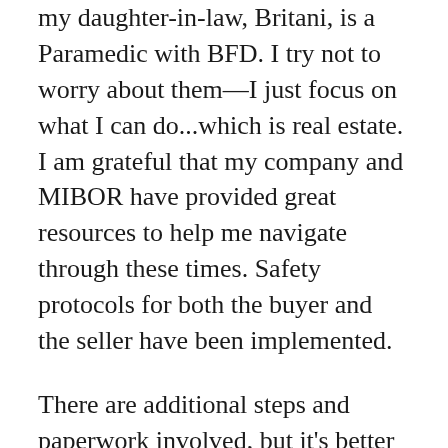my daughter-in-law, Britani, is a Paramedic with BFD. I try not to worry about them—I just focus on what I can do...which is real estate. I am grateful that my company and MIBOR have provided great resources to help me navigate through these times. Safety protocols for both the buyer and the seller have been implemented.
There are additional steps and paperwork involved, but it's better to be overly cautious now, than to have regret later. Although my job has changed during these unprecedented times, I feel equipped to handle these changes. As technology has evolved over the years, so has the way we've done business. Carpenter Realtors has really embraced technology and has stayed committed to providing our clients and brokers